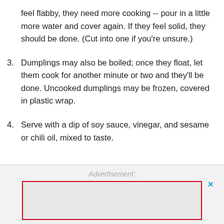feel flabby, they need more cooking -- pour in a little more water and cover again. If they feel solid, they should be done. (Cut into one if you're unsure.)
3. Dumplings may also be boiled; once they float, let them cook for another minute or two and they'll be done. Uncooked dumplings may be frozen, covered in plastic wrap.
4. Serve with a dip of soy sauce, vinegar, and sesame or chili oil, mixed to taste.
Advertisement: